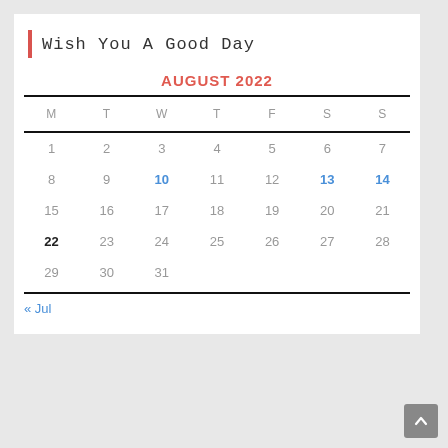Wish You A Good Day
| M | T | W | T | F | S | S |
| --- | --- | --- | --- | --- | --- | --- |
| 1 | 2 | 3 | 4 | 5 | 6 | 7 |
| 8 | 9 | 10 | 11 | 12 | 13 | 14 |
| 15 | 16 | 17 | 18 | 19 | 20 | 21 |
| 22 | 23 | 24 | 25 | 26 | 27 | 28 |
| 29 | 30 | 31 |  |  |  |  |
« Jul